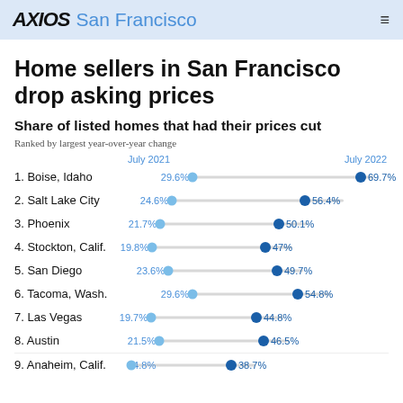AXIOS San Francisco
Home sellers in San Francisco drop asking prices
Share of listed homes that had their prices cut
Ranked by largest year-over-year change
[Figure (dot-plot): Share of listed homes that had their prices cut]